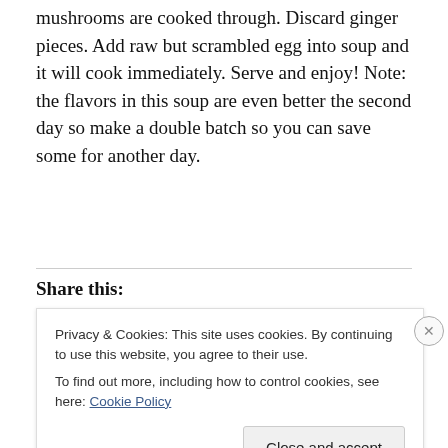mushrooms are cooked through. Discard ginger pieces. Add raw but scrambled egg into soup and it will cook immediately. Serve and enjoy! Note: the flavors in this soup are even better the second day so make a double batch so you can save some for another day.
Share this:
Privacy & Cookies: This site uses cookies. By continuing to use this website, you agree to their use.
To find out more, including how to control cookies, see here: Cookie Policy